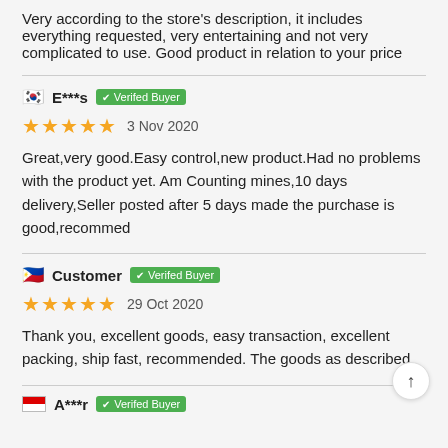Very according to the store's description, it includes everything requested, very entertaining and not very complicated to use. Good product in relation to your price
E***s  Verifed Buyer
★★★★★  3 Nov 2020
Great,very good.Easy control,new product.Had no problems with the product yet. Am Counting mines,10 days delivery,Seller posted after 5 days made the purchase is good,recommed
Customer  Verifed Buyer
★★★★★  29 Oct 2020
Thank you, excellent goods, easy transaction, excellent packing, ship fast, recommended. The goods as described
A***r  Verifed Buyer